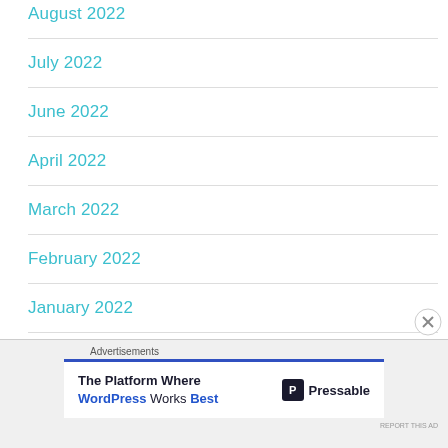August 2022
July 2022
June 2022
April 2022
March 2022
February 2022
January 2022
Advertisements
[Figure (other): Advertisement: The Platform Where WordPress Works Best — Pressable logo]